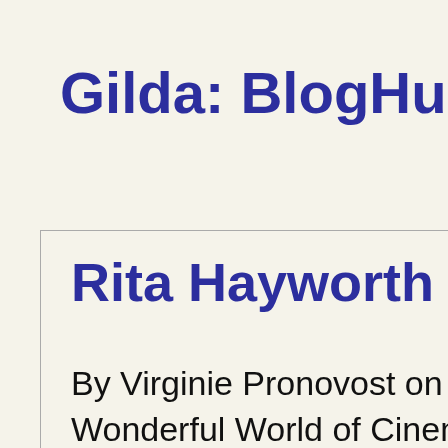Gilda: BlogHub A
Rita Hayworth Is
By Virginie Pronovost on Wonderful World of Cinem
I'm finally back to blogath